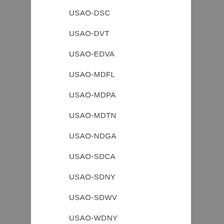USAO-DSC
USAO-DVT
USAO-EDVA
USAO-MDFL
USAO-MDPA
USAO-MDTN
USAO-NDGA
USAO-SDCA
USAO-SDNY
USAO-SDWV
USAO-WDNY
VA-OIG